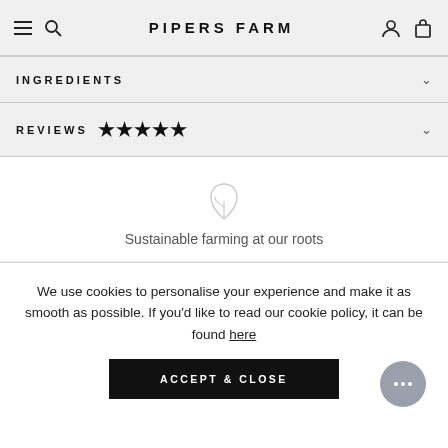Pipers Farm
INGREDIENTS
REVIEWS ★★★★★
[Figure (illustration): Small leaf/plant icon representing sustainable farming]
Sustainable farming at our roots
We use cookies to personalise your experience and make it as smooth as possible. If you'd like to read our cookie policy, it can be found here
ACCEPT & CLOSE